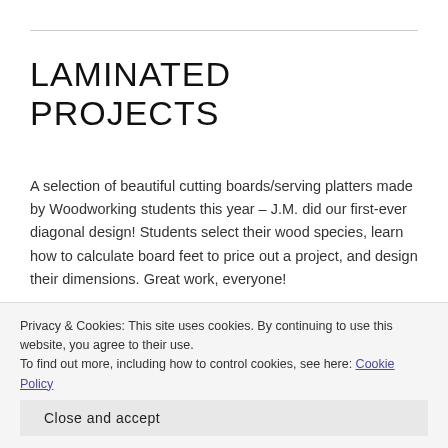LAMINATED PROJECTS
A selection of beautiful cutting boards/serving platters made by Woodworking students this year – J.M. did our first-ever diagonal design! Students select their wood species, learn how to calculate board feet to price out a project, and design their dimensions. Great work, everyone!
[Figure (photo): Photo of a laminated cutting board with horizontal wood strips on a white/light background]
[Figure (photo): Photo of a laminated cutting board with diagonal multi-colored wood strips]
Privacy & Cookies: This site uses cookies. By continuing to use this website, you agree to their use.
To find out more, including how to control cookies, see here: Cookie Policy
Close and accept